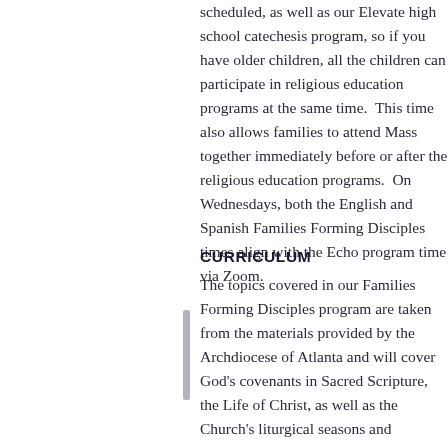scheduled, as well as our Elevate high school catechesis program, so if you have older children, all the children can participate in religious education programs at the same time.  This time also allows families to attend Mass together immediately before or after the religious education programs.  On Wednesdays, both the English and Spanish Families Forming Disciples times align with the Echo program time via Zoom.
CURRICULUM
The topics covered in our Families Forming Disciples program are taken from the materials provided by the Archdiocese of Atlanta and will cover God’s covenants in Sacred Scripture, the Life of Christ, as well as the Church’s liturgical seasons and celebrations (all materials will be provided to the families).  Children in the Echo and